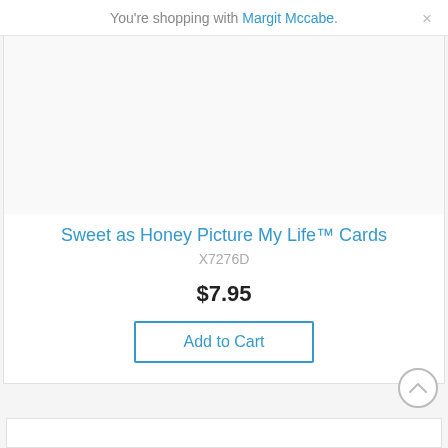You're shopping with Margit Mccabe.
[Figure (other): Product image area (blank/white space for Sweet as Honey Picture My Life Cards)]
Sweet as Honey Picture My Life™ Cards
X7276D
$7.95
Add to Cart